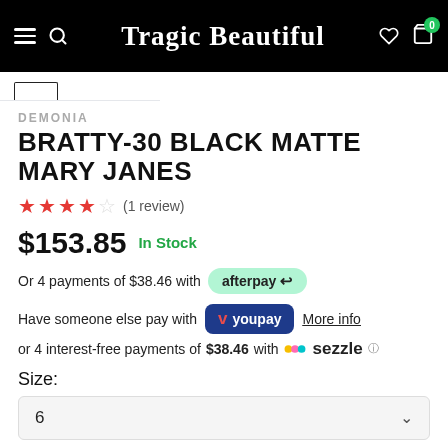Tragic Beautiful
DEMONIA
BRATTY-30 BLACK MATTE MARY JANES
★★★★☆ (1 review)
$153.85 In Stock
Or 4 payments of $38.46 with afterpay
Have someone else pay with youpay More info
or 4 interest-free payments of $38.46 with sezzle
Size:
6